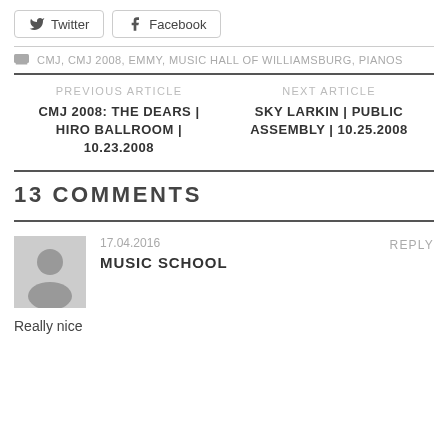Twitter  Facebook
CMJ, CMJ 2008, EMMY, MUSIC HALL OF WILLIAMSBURG, PIANOS
PREVIOUS ARTICLE
CMJ 2008: THE DEARS | HIRO BALLROOM | 10.23.2008
NEXT ARTICLE
SKY LARKIN | PUBLIC ASSEMBLY | 10.25.2008
13 COMMENTS
17.04.2016
REPLY
MUSIC SCHOOL
Really nice